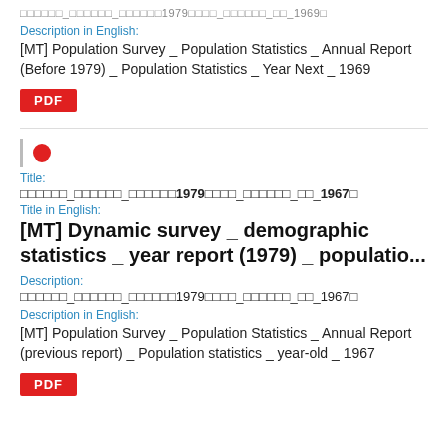xxxxxxx_xxxxxxx_xxxxxxx1979xxxx_xxxxxxx_xx_1969x
Description in English:
[MT] Population Survey _ Population Statistics _ Annual Report (Before 1979) _ Population Statistics _ Year Next _ 1969
PDF
Title:
xxxxxxx_xxxxxxx_xxxxxxx1979xxxx_xxxxxxx_xx_1967x
Title in English:
[MT] Dynamic survey _ demographic statistics _ year report (1979) _ populatio...
Description:
xxxxxxx_xxxxxxx_xxxxxxx1979xxxx_xxxxxxx_xx_1967x
Description in English:
[MT] Population Survey _ Population Statistics _ Annual Report (previous report) _ Population statistics _ year-old _ 1967
PDF